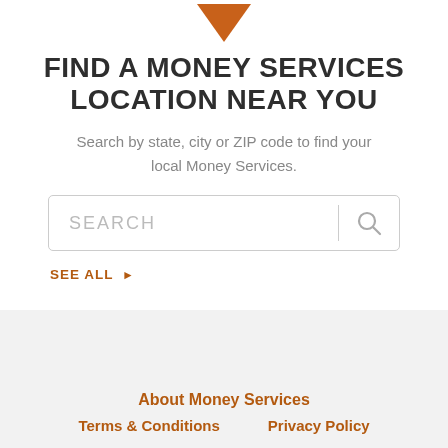[Figure (illustration): Orange downward pointing triangle/arrow icon]
FIND A MONEY SERVICES LOCATION NEAR YOU
Search by state, city or ZIP code to find your local Money Services.
[Figure (other): Search input box with placeholder text SEARCH and a magnifying glass icon]
SEE ALL ▶
About Money Services  Terms & Conditions  Privacy Policy